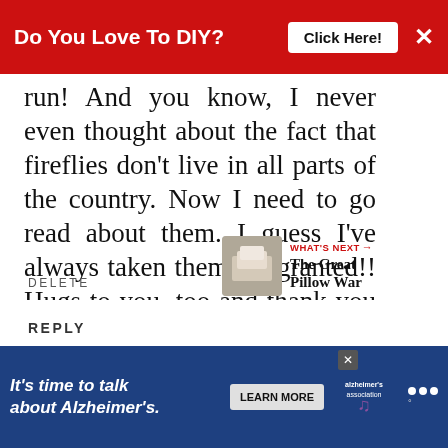Do You Love To DIY? [Click Here!] [X]
run! And you know, I never even thought about the fact that fireflies don't live in all parts of the country. Now I need to go read about them. I guess I've always taken them for granted!! Hugs to you, too and thank you for sharing your summertime tale!! That one's a keeper!! ☺
DELETE
[Figure (other): Thumbnail image for 'What's Next: The Great Pillow War']
WHAT'S NEXT → The Great Pillow War
REPLY
It's time to talk about Alzheimer's. [LEARN MORE] [Alzheimer's Association logo] [close ad] [mute icon]